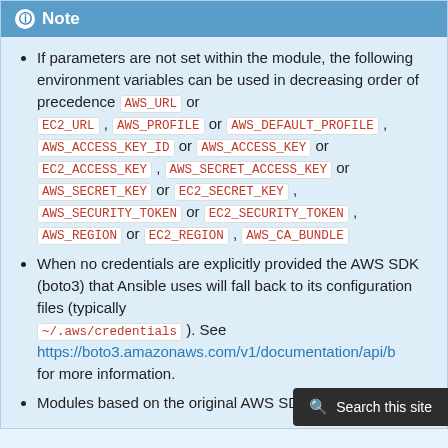Note
If parameters are not set within the module, the following environment variables can be used in decreasing order of precedence AWS_URL or EC2_URL , AWS_PROFILE or AWS_DEFAULT_PROFILE , AWS_ACCESS_KEY_ID or AWS_ACCESS_KEY or EC2_ACCESS_KEY , AWS_SECRET_ACCESS_KEY or AWS_SECRET_KEY or EC2_SECRET_KEY , AWS_SECURITY_TOKEN or EC2_SECURITY_TOKEN , AWS_REGION or EC2_REGION , AWS_CA_BUNDLE
When no credentials are explicitly provided the AWS SDK (boto3) that Ansible uses will fall back to its configuration files (typically ~/.aws/credentials ). See https://boto3.amazonaws.com/v1/documentation/api/b for more information.
Modules based on the original AWS SDK (boto)